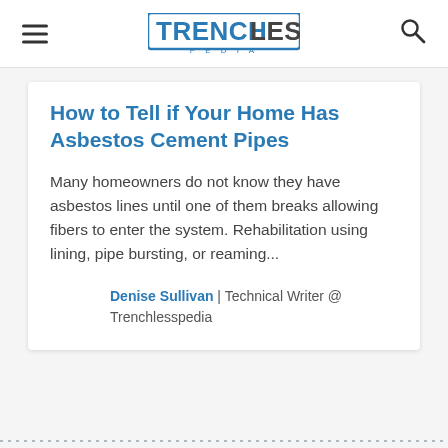TRENCHLESS PEDIA
How to Tell if Your Home Has Asbestos Cement Pipes
Many homeowners do not know they have asbestos lines until one of them breaks allowing fibers to enter the system. Rehabilitation using lining, pipe bursting, or reaming...
Denise Sullivan | Technical Writer @ Trenchlesspedia